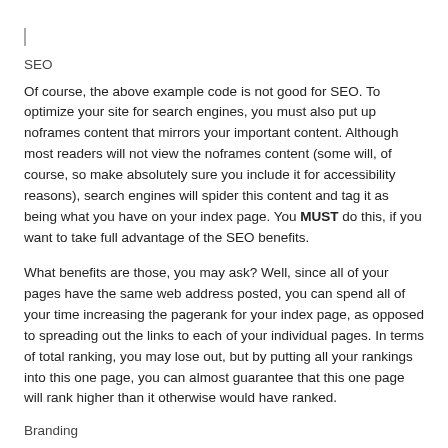SEO
Of course, the above example code is not good for SEO. To optimize your site for search engines, you must also put up noframes content that mirrors your important content. Although most readers will not view the noframes content (some will, of course, so make absolutely sure you include it for accessibility reasons), search engines will spider this content and tag it as being what you have on your index page. You MUST do this, if you want to take full advantage of the SEO benefits.
What benefits are those, you may ask? Well, since all of your pages have the same web address posted, you can spend all of your time increasing the pagerank for your index page, as opposed to spreading out the links to each of your individual pages. In terms of total ranking, you may lose out, but by putting all your rankings into this one page, you can almost guarantee that this one page will rank higher than it otherwise would have ranked.
Branding